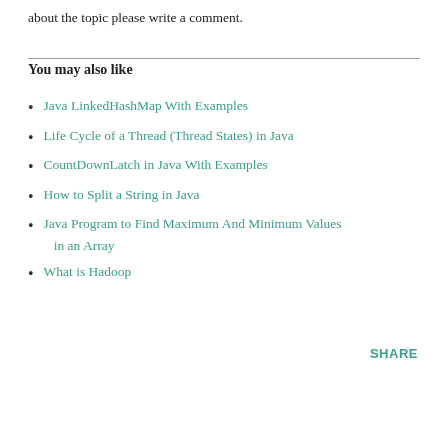about the topic please write a comment.
You may also like
Java LinkedHashMap With Examples
Life Cycle of a Thread (Thread States) in Java
CountDownLatch in Java With Examples
How to Split a String in Java
Java Program to Find Maximum And Minimum Values in an Array
What is Hadoop
SHARE